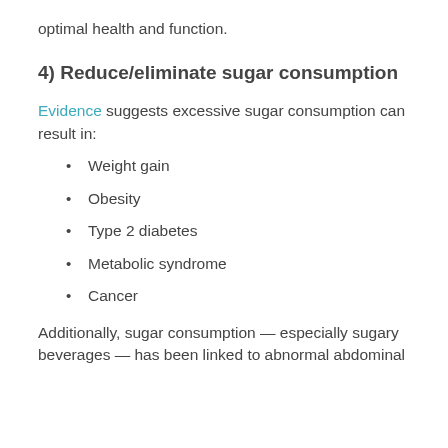optimal health and function.
4) Reduce/eliminate sugar consumption
Evidence suggests excessive sugar consumption can result in:
Weight gain
Obesity
Type 2 diabetes
Metabolic syndrome
Cancer
Additionally, sugar consumption — especially sugary beverages — has been linked to abnormal abdominal